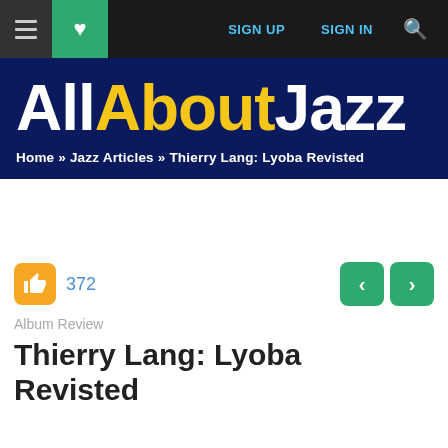≡ ♥ SIGN UP SIGN IN 🔍
[Figure (logo): All About Jazz website logo on dark navy background with breadcrumb navigation: Home » Jazz Articles » Thierry Lang: Lyoba Revisted]
372
Album Review
Thierry Lang: Lyoba Revisted